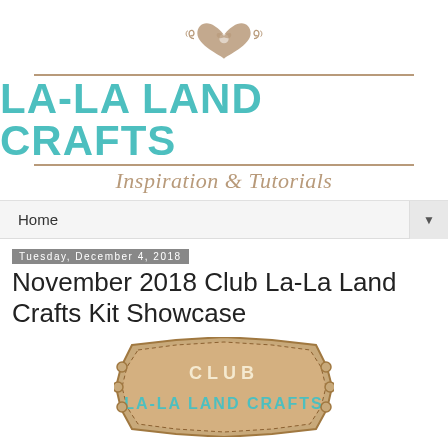[Figure (logo): La-La Land Crafts logo with decorative heart, teal main text and tan italic subtitle 'Inspiration & Tutorials']
Home ▼
Tuesday, December 4, 2018
November 2018 Club La-La Land Crafts Kit Showcase
[Figure (illustration): Club La-La Land Crafts badge/label on kraft paper background with teal text]